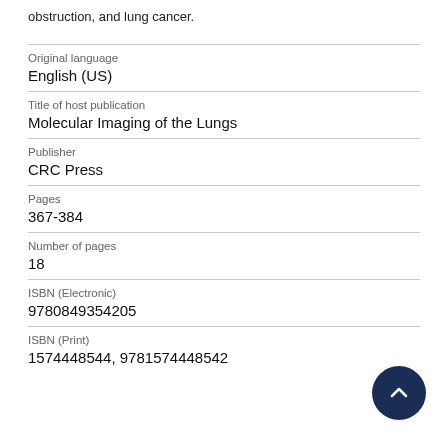obstruction, and lung cancer.
Original language
English (US)
Title of host publication
Molecular Imaging of the Lungs
Publisher
CRC Press
Pages
367-384
Number of pages
18
ISBN (Electronic)
9780849354205
ISBN (Print)
1574448544, 9781574448542